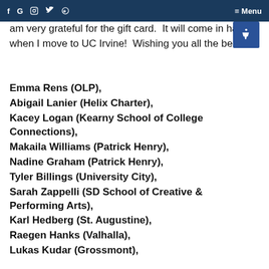f G [instagram] [twitter] [yelp]  ≡ Menu
am very grateful for the gift card.  It will come in handy when I move to UC Irvine!  Wishing you all the best!
Emma Rens (OLP),
Abigail Lanier (Helix Charter),
Kacey Logan (Kearny School of College Connections),
Makaila Williams (Patrick Henry),
Nadine Graham (Patrick Henry),
Tyler Billings (University City),
Sarah Zappelli (SD School of Creative & Performing Arts),
Karl Hedberg (St. Augustine),
Raegen Hanks (Valhalla),
Lukas Kudar (Grossmont),